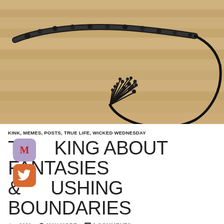[Figure (photo): A black leather flogger/whip laid out on a light wooden floor, forming a loop shape with multiple strands fanning out at the end]
KINK, MEMES, POSTS, TRUE LIFE, WICKED WEDNESDAY
TALKING ABOUT FANTASIES & PUSHING BOUNDARIES
2020  MAY MORE  9 COMMENTS